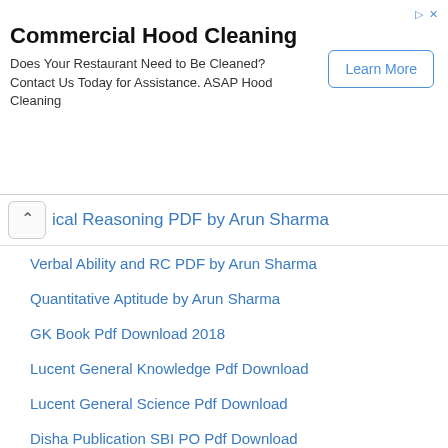[Figure (screenshot): Advertisement banner for Commercial Hood Cleaning service with Learn More button]
ical Reasoning PDF by Arun Sharma
Verbal Ability and RC PDF by Arun Sharma
Quantitative Aptitude by Arun Sharma
GK Book Pdf Download 2018
Lucent General Knowledge Pdf Download
Lucent General Science Pdf Download
Disha Publication SBI PO Pdf Download